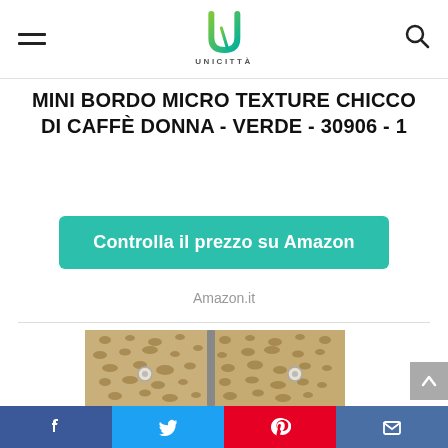Unicittà navigation header with hamburger menu, logo, and search icon
MINI BORDO MICRO TEXTURE CHICCO DI CAFFÈ DONNA - VERDE - 30906 - 1
Controlla il prezzo su Amazon
Amazon.it
[Figure (photo): Product photo of a mini bag with micro texture snakeskin pattern in beige/gold color with zipper, shown open from the front.]
Social share bar: Facebook, Twitter, Pinterest, Email